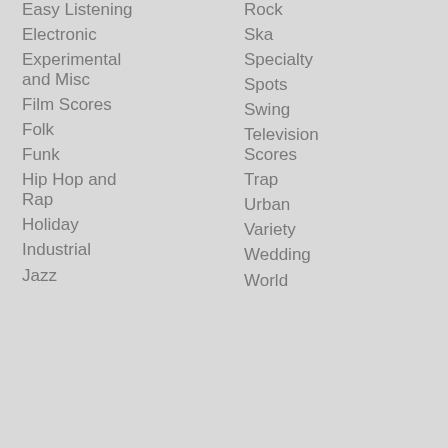Easy Listening
Electronic
Experimental and Misc
Film Scores
Folk
Funk
Hip Hop and Rap
Holiday
Industrial
Jazz
Rock
Ska
Specialty
Spots
Swing
Television Scores
Trap
Urban
Variety
Wedding
World